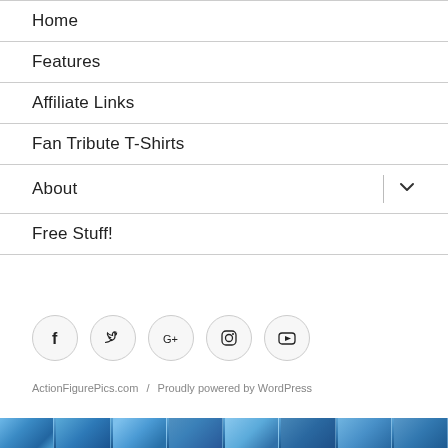Home
Features
Affiliate Links
Fan Tribute T-Shirts
About
Free Stuff!
[Figure (infographic): Row of five circular social media icon buttons: Facebook, Twitter, Google+, Instagram, YouTube]
ActionFigurePics.com / Proudly powered by WordPress
[Figure (illustration): Blue mosaic tile strip at the bottom of the page]